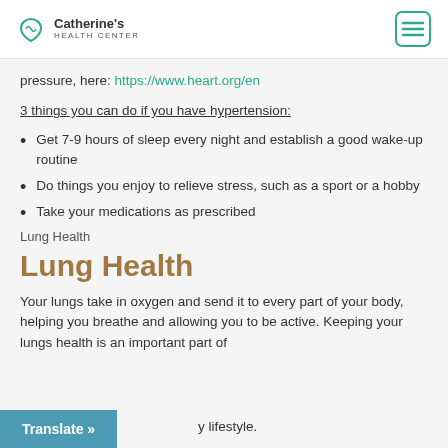Catherine's Health Center
pressure, here: https://www.heart.org/en
3 things you can do if you have hypertension:
Get 7-9 hours of sleep every night and establish a good wake-up routine
Do things you enjoy to relieve stress, such as a sport or a hobby
Take your medications as prescribed
Lung Health
Lung Health
Your lungs take in oxygen and send it to every part of your body, helping you breathe and allowing you to be active. Keeping your lungs health is an important part of a healthy lifestyle.